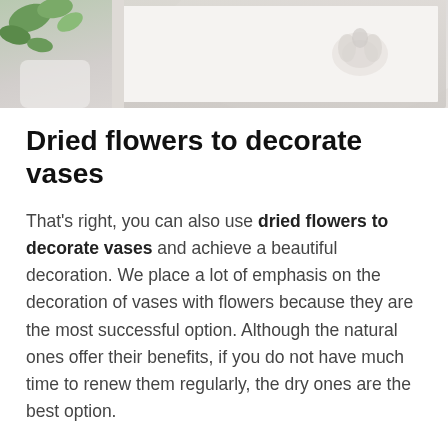[Figure (photo): Partial photo of a decorative white ornate frame with green foliage visible in the top left corner, light beige/grey tones]
Dried flowers to decorate vases
That's right, you can also use dried flowers to decorate vases and achieve a beautiful decoration. We place a lot of emphasis on the decoration of vases with flowers because they are the most successful option. Although the natural ones offer their benefits, if you do not have much time to renew them regularly, the dry ones are the best option.
Remember that even if they are dehydrated, they are 100% natural flowers and they guarantee you a colorful, elegant and